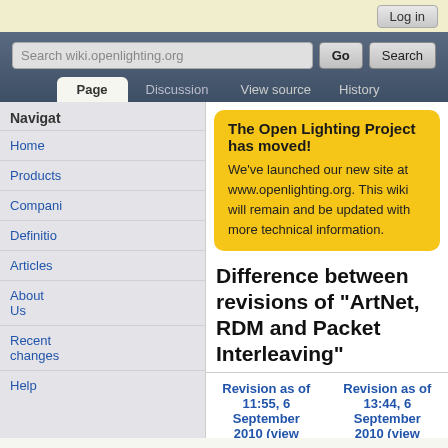Log in
Search wiki.openlighting.org
Page | Discussion | View source | History
Navigate
Home
Products
Companies
Definitions
Articles
About Us
Recent changes
Help
The Open Lighting Project has moved! We've launched our new site at www.openlighting.org. This wiki will remain and be updated with more technical information.
Difference between revisions of "ArtNet, RDM and Packet Interleaving"
| Revision as of 11:55, 6 September 2010 (view source) | Revision as of 13:44, 6 September 2010 (view source) |
| --- | --- |
| 66.92.11.32 (talk) | 66.92.11.32 (talk) |
| (→Possible Solutions) | (→Send a single RDM command at once) |
| Older edit |  |